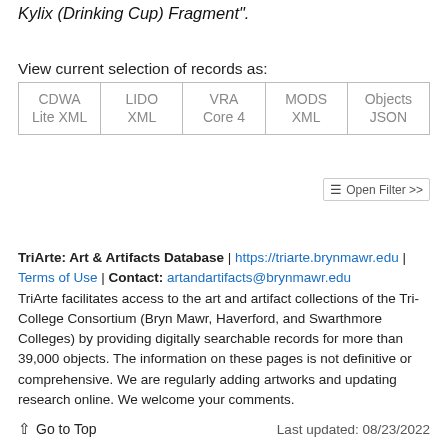Kylix (Drinking Cup) Fragment".
View current selection of records as:
| CDWA Lite XML | LIDO XML | VRA Core 4 | MODS XML | Objects JSON |
| --- | --- | --- | --- | --- |
TriArte: Art & Artifacts Database | https://triarte.brynmawr.edu | Terms of Use | Contact: artandartifacts@brynmawr.edu
TriArte facilitates access to the art and artifact collections of the Tri-College Consortium (Bryn Mawr, Haverford, and Swarthmore Colleges) by providing digitally searchable records for more than 39,000 objects. The information on these pages is not definitive or comprehensive. We are regularly adding artworks and updating research online. We welcome your comments.
↑ Go to Top    Last updated: 08/23/2022